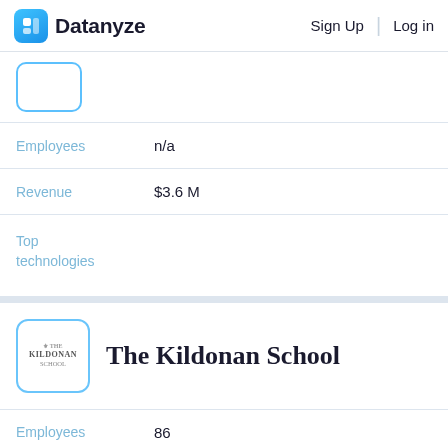Datanyze | Sign Up | Log in
[Figure (logo): Partial company logo box (cut off at top), blue border rounded square]
Employees	n/a
Revenue	$3.6 M
Top technologies
The Kildonan School
Employees	86
Revenue	$6.6 M